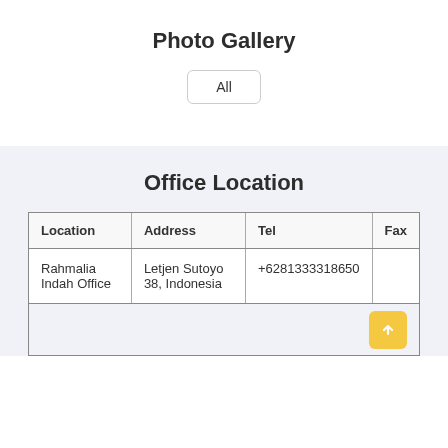Photo Gallery
[Figure (other): Filter button labeled 'All' with rounded border]
Office Location
| Location | Address | Tel | Fax |
| --- | --- | --- | --- |
| Rahmalia Indah Office | Letjen Sutoyo 38, Indonesia | +6281333318650 |  |